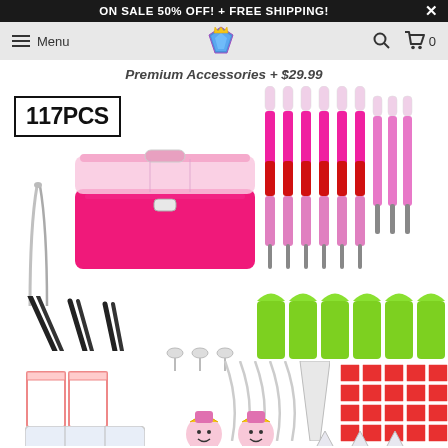ON SALE 50% OFF! + FREE SHIPPING!
[Figure (screenshot): Website navigation bar with hamburger menu icon, Menu text, diamond logo, search icon, and cart icon showing 0 items]
Premium Accessories + $29.99
[Figure (photo): 117PCS diamond painting accessories kit including: pink storage box with transparent lid, tweezers (silver and black), spoons, green square trays, pink and red dotting pens/drills, plastic bags, funnel, white glue clay holders, cute cartoon roller pens, red adhesive stickers, and other accessories]